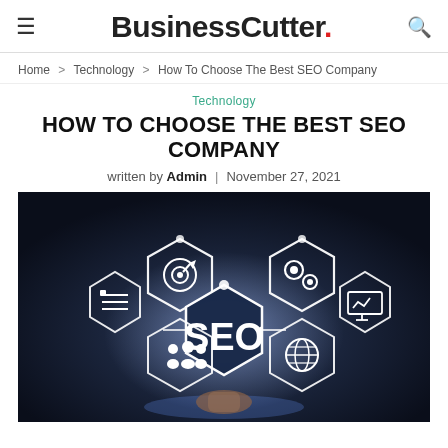BusinessCutter.
Home > Technology > How To Choose The Best SEO Company
Technology
HOW TO CHOOSE THE BEST SEO COMPANY
written by Admin | November 27, 2021
[Figure (photo): Dark background image featuring glowing hexagonal icons with SEO-related symbols (target, gear, people, globe, monitor with chart) surrounding a large central hexagon displaying the text 'SEO'. A hand points toward the display from behind.]